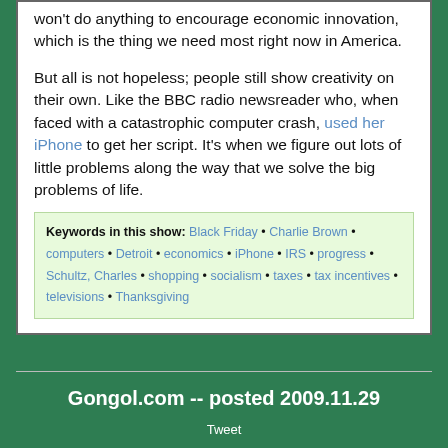won't do anything to encourage economic innovation, which is the thing we need most right now in America.
But all is not hopeless; people still show creativity on their own. Like the BBC radio newsreader who, when faced with a catastrophic computer crash, used her iPhone to get her script. It's when we figure out lots of little problems along the way that we solve the big problems of life.
Keywords in this show: Black Friday • Charlie Brown • computers • Detroit • economics • iPhone • IRS • progress • Schultz, Charles • shopping • socialism • taxes • tax incentives • televisions • Thanksgiving
Gongol.com -- posted 2009.11.29 Tweet Navigation: About • Archives • Book • Checklists • Contact • EconDirectory • How-To • Links • Lists • Media • Opinions • Photos • Radio • Research • Search • Security Update • Sitemap • Streaming • VHS 1997 Business: DJ Gongol & Associates • Pumps • Process Equipment • Northern Republic Subscriptions: RSS • Yahoo • MSN • Google • Twitter • updates by e-mail Stores: Bookstore • Pump Store • Graphics Store • Web Hosting